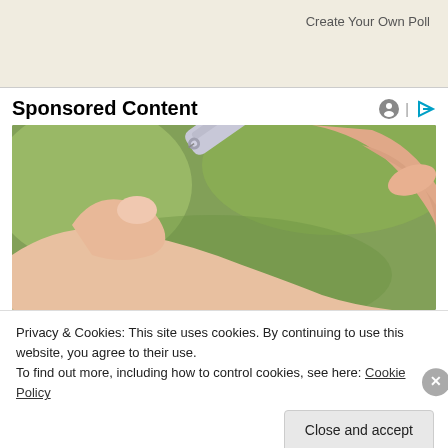Create Your Own Poll
Sponsored Content
[Figure (photo): Close-up photo of a finger being pricked by a lancet device for blood glucose testing. One hand is extended palm-up with a finger outstretched, and another hand holds a silver lancet pen device pressing against the fingertip. Green blurred background.]
Privacy & Cookies: This site uses cookies. By continuing to use this website, you agree to their use.
To find out more, including how to control cookies, see here: Cookie Policy
Close and accept